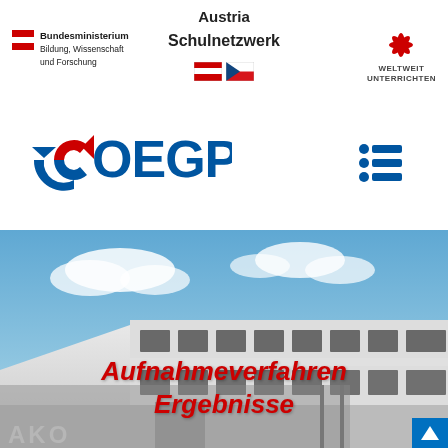Austria Schulnetzwerk
[Figure (logo): Bundesministerium Bildung, Wissenschaft und Forschung logo with Austrian flag stripe]
[Figure (logo): Weltweit Unterrichten logo with red star/flower icon]
[Figure (logo): Austrian and Czech flag icons]
[Figure (logo): OEGP logo in blue and red]
[Figure (other): Hamburger menu icon in blue]
[Figure (photo): Modern school building exterior with blue sky and clouds]
Aufnahmeverfahren Ergebnisse